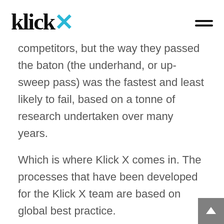klick x
competitors, but the way they passed the baton (the underhand, or up-sweep pass) was the fastest and least likely to fail, based on a tonne of research undertaken over many years.
Which is where Klick X comes in. The processes that have been developed for the Klick X team are based on global best practice.
Klick X Founder and CEO Kim